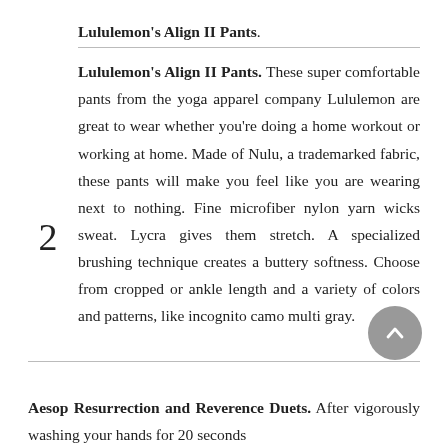Lululemon's Align II Pants. These super comfortable pants from the yoga apparel company Lululemon are great to wear whether you're doing a home workout or working at home. Made of Nulu, a trademarked fabric, these pants will make you feel like you are wearing next to nothing. Fine microfiber nylon yarn wicks sweat. Lycra gives them stretch. A specialized brushing technique creates a buttery softness. Choose from cropped or ankle length and a variety of colors and patterns, like incognito camo multi gray.
Aesop Resurrection and Reverence Duets. After vigorously washing your hands for 20 seconds